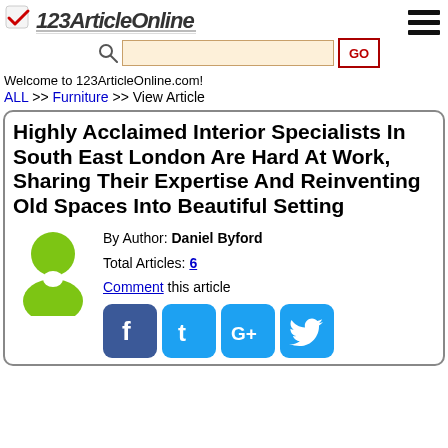123ArticleOnline.com - logo and navigation
Welcome to 123ArticleOnline.com!
ALL >> Furniture >> View Article
Highly Acclaimed Interior Specialists In South East London Are Hard At Work, Sharing Their Expertise And Reinventing Old Spaces Into Beautiful Setting
By Author: Daniel Byford
Total Articles: 6
Comment this article